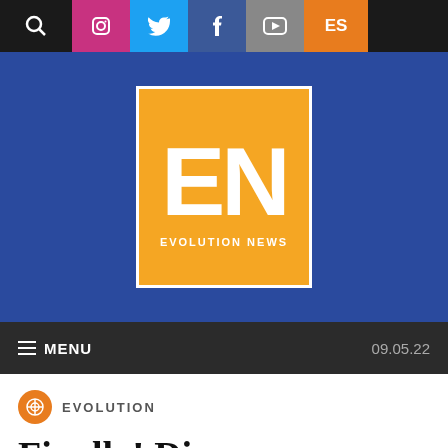[Figure (screenshot): Website top navigation bar with search icon and social media icons (Instagram, Twitter, Facebook, YouTube) and ES language toggle]
[Figure (logo): Evolution News logo: orange box with white EN letters and EVOLUTION NEWS text below]
≡ MENU   09.05.22
EVOLUTION
Finally! Discovery Institute Press Books in Audio Versions